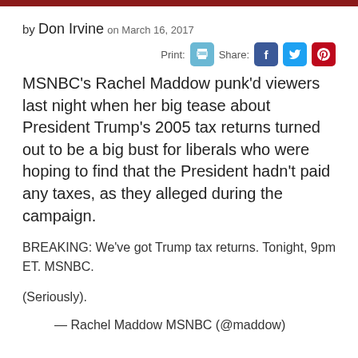by Don Irvine on March 16, 2017
MSNBC's Rachel Maddow punk'd viewers last night when her big tease about President Trump's 2005 tax returns turned out to be a big bust for liberals who were hoping to find that the President hadn't paid any taxes, as they alleged during the campaign.
BREAKING: We've got Trump tax returns. Tonight, 9pm ET. MSNBC.
(Seriously).
— Rachel Maddow MSNBC (@maddow)